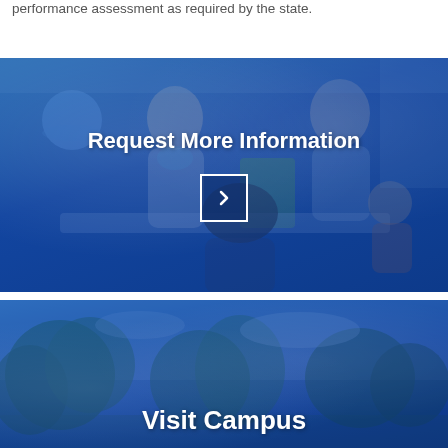performance assessment as required by the state.
[Figure (photo): Blue-tinted photo of a classroom scene with teachers and students sitting at a table, with a globe visible in the background. Contains bold white text 'Request More Information' and a white-bordered arrow button.]
[Figure (photo): Blue-tinted photo of trees/campus outdoor scene with bold white text 'Visit Campus' at the bottom.]